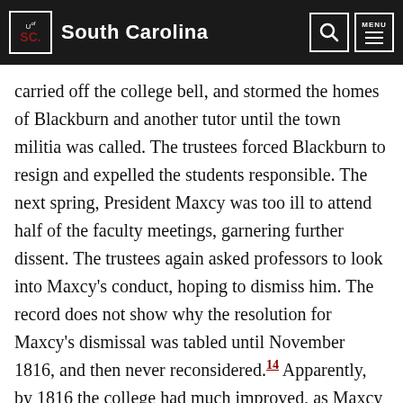University of South Carolina
carried off the college bell, and stormed the homes of Blackburn and another tutor until the town militia was called. The trustees forced Blackburn to resign and expelled the students responsible. The next spring, President Maxcy was too ill to attend half of the faculty meetings, garnering further dissent. The trustees again asked professors to look into Maxcy’s conduct, hoping to dismiss him. The record does not show why the resolution for Maxcy’s dismissal was tabled until November 1816, and then never reconsidered.[14] Apparently, by 1816 the college had much improved, as Maxcy reported that “I never knew an instance in which a college was conducted with such order, peace, and industry.”[15] He was never again investigated by the board and was even elected to the Board of Trustees in 1817.